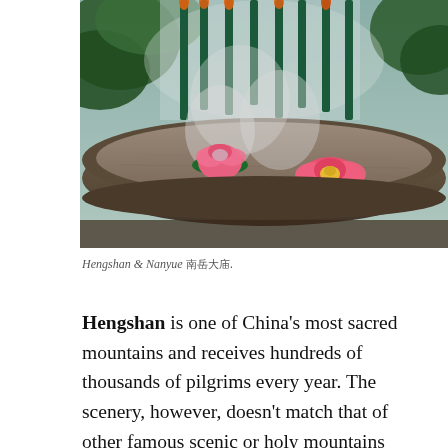[Figure (photo): Large stone incense burner filled with ash and sand, with tall green incense sticks burning and smoke rising. Two decorative pink lotus flower candle holders sit in the burner. Background shows trees and mist.]
Hengshan & Nanyue 南岳大庙.
Hengshan is one of China's most sacred mountains and receives hundreds of thousands of pilgrims every year. The scenery, however, doesn't match that of other famous scenic or holy mountains we've visited. The paved road continually cuts across the stone path and the drone of traffic is never too far away, reducing the feeling of spiritual isolation that the